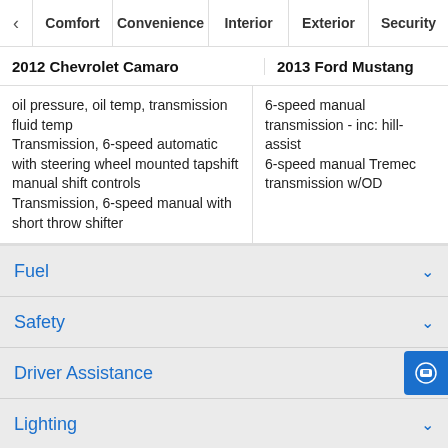Comfort | Convenience | Interior | Exterior | Security
2012 Chevrolet Camaro | 2013 Ford Mustang
oil pressure, oil temp, transmission fluid temp
Transmission, 6-speed automatic with steering wheel mounted tapshift manual shift controls
Transmission, 6-speed manual with short throw shifter
6-speed manual transmission - inc: hill-assist
6-speed manual Tremec transmission w/OD
Fuel
Safety
Driver Assistance
Lighting
Infotainment
Connectivity